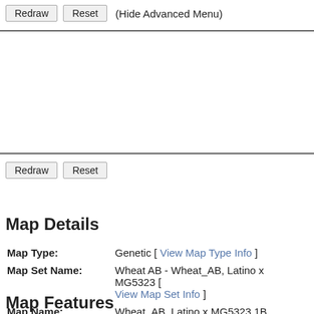Redraw  Reset  (Hide Advanced Menu)
Redraw  Reset
Map Details
| Field | Value |
| --- | --- |
| Map Type: | Genetic [ View Map Type Info ] |
| Map Set Name: | Wheat AB - Wheat_AB, Latino x MG5323 [ View Map Set Info ] |
| Map Name: | Wheat_AB, Latino x MG5323 1B |
| Map Start: | 0 |
| Map Stop: | 156.9 |
| Features by Type: | 956  locus
956  Total |
Map Features